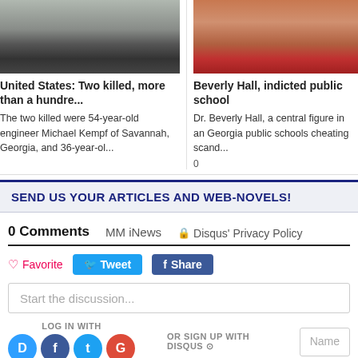[Figure (photo): Photo of a train on tracks, low angle view, grayscale/muted tones]
[Figure (photo): Photo of a smiling person holding a medal, wearing red clothing with blue accents]
United States: Two killed, more than a hundre...
Beverly Hall, indicted public school
The two killed were 54-year-old engineer Michael Kempf of Savannah, Georgia, and 36-year-ol...
Dr. Beverly Hall, a central figure in an Georgia public schools cheating scand...
SEND US YOUR ARTICLES AND WEB-NOVELS!
0 Comments   MM iNews   🔒 Disqus' Privacy Policy
♡ Favorite   Tweet   Share
Start the discussion...
LOG IN WITH
OR SIGN UP WITH DISQUS ?
Name